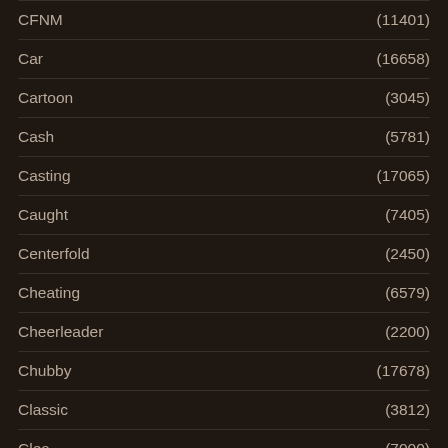CFNM (11401)
Car (16658)
Cartoon (3045)
Cash (5781)
Casting (17065)
Caught (7405)
Centerfold (2450)
Cheating (6579)
Cheerleader (2200)
Chubby (17678)
Classic (3812)
Clean (7000+)